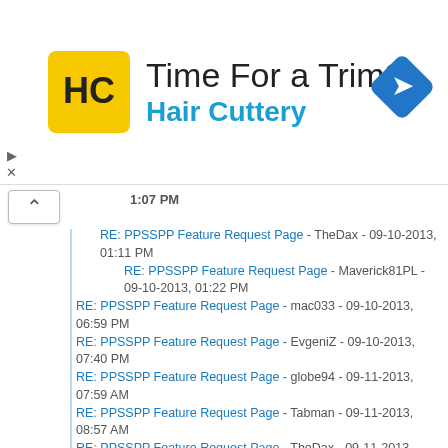[Figure (advertisement): Hair Cuttery ad banner with logo and navigation icon]
1:07 PM
RE: PPSSPP Feature Request Page - TheDax - 09-10-2013, 01:11 PM
RE: PPSSPP Feature Request Page - Maverick81PL - 09-10-2013, 01:22 PM
RE: PPSSPP Feature Request Page - mac033 - 09-10-2013, 06:59 PM
RE: PPSSPP Feature Request Page - EvgeniZ - 09-10-2013, 07:40 PM
RE: PPSSPP Feature Request Page - globe94 - 09-11-2013, 07:59 AM
RE: PPSSPP Feature Request Page - Tabman - 09-11-2013, 08:57 AM
RE: PPSSPP Feature Request Page - TheDax - 09-11-2013, 03:35 PM
RE: PPSSPP Feature Request Page - vnctdj - 09-11-2013, 04:48 PM
RE: PPSSPP Feature Request Page - globe94 - 09-11-2013, 05:21 PM
RE: PPSSPP Feature Request Page - TheDax - 09-12-2013, 01:42 AM
RE: PPSSPP Feature Request Page - vnctdj - 09-12-2013, 04:41 PM
RE: PPSSPP Feature Request Page - ravid1323 - 09-12-2013, 03:10 AM
RE: PPSSPP Feature Request Page - mdgs123 - 09-12-2013, 07:58 AM
RE: PPSSPP Feature Request Page - TheDax - 09-13-2013, 12:38 AM
RE: PPSSPP Feature Request Page - Tabman - 09-14-2013, 09:15 AM